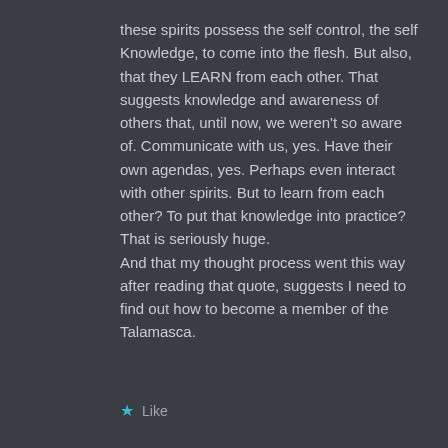these spirits possess the self control, the self Knowledge, to come into the flesh. But also, that they LEARN from each other. That suggests knowledge and awareness of others that, until now, we weren't so aware of. Communicate with us, yes. Have their own agendas, yes. Perhaps even interact with other spirits. But to learn from each other? To put that knowledge into practice? That is seriously huge.
And that my thought process went this way after reading that quote, suggests I need to find out how to become a member of the Talamasca.
Like